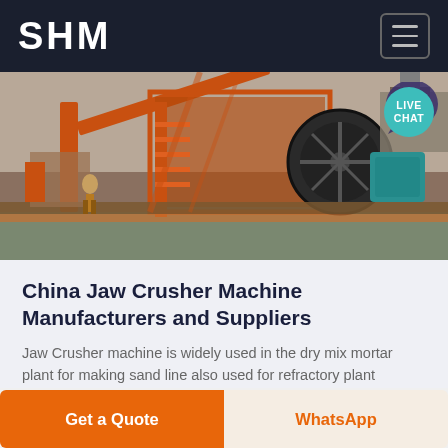SHM
[Figure (photo): Industrial mining/crushing machinery site with large orange conveyor and screening equipment, workers visible, outdoor setting near water.]
China Jaw Crusher Machine Manufacturers and Suppliers
Jaw Crusher machine is widely used in the dry mix mortar plant for making sand line also used for refractory plant cement plant glass plant and other construction line for making small